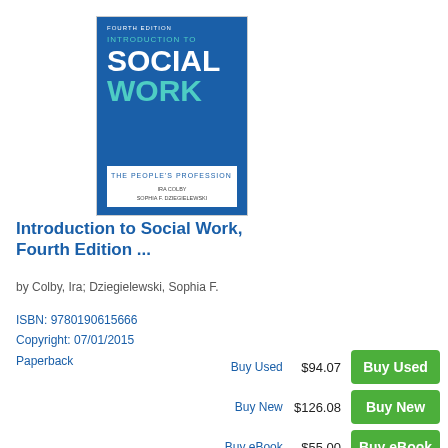[Figure (illustration): Book cover for Introduction to Social Work, Fourth Edition. Blue background with title 'INTRODUCTION TO SOCIAL WORK' and subtitle 'THE PEOPLE'S PROFESSION'. Authors: IRA COLBY and SOPHIA F. DZIEGIELEWSKI.]
Introduction to Social Work, Fourth Edition ...
by Colby, Ira; Dziegielewski, Sophia F.
ISBN: 9780190615666
Copyright: 07/01/2015
Paperback
|  | Price | Action |
| --- | --- | --- |
| Buy Used | $94.07 | Buy Used |
| Buy New | $126.08 | Buy New |
| Buy eBook | $55.00 | Buy eBook |